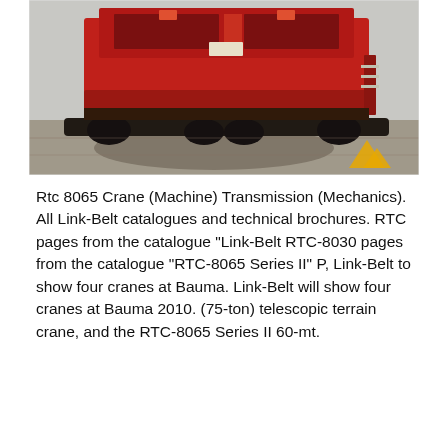[Figure (photo): Rear view of a red Link-Belt RTC-8065 rough terrain crane machine on pavement, showing the undercarriage and rear chassis. A yellow mountain logo watermark appears in the bottom-right corner of the photo.]
Rtc 8065 Crane (Machine) Transmission (Mechanics). All Link-Belt catalogues and technical brochures. RTC pages from the catalogue "Link-Belt RTC-8030 pages from the catalogue "RTC-8065 Series II" P, Link-Belt to show four cranes at Bauma. Link-Belt will show four cranes at Bauma 2010. (75-ton) telescopic terrain crane, and the RTC-8065 Series II 60-mt.